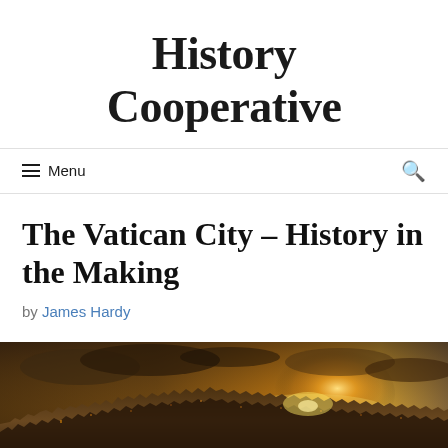History Cooperative
≡ Menu
The Vatican City – History in the Making
by James Hardy
[Figure (photo): Aerial panoramic view of Vatican City / Rome at dusk with golden sunset sky and city sprawl below]